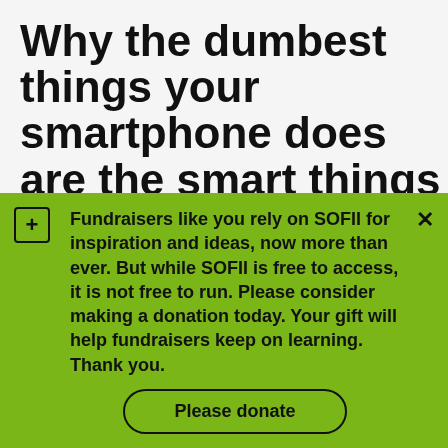Why the dumbest things your smartphone does are the smart things to do
Unless you're a hermit or a latter-day Luddite, you have a mobile phone. And given SOFII's readership demographic, it's probably a smartphone that's starting to act as a kind of seventh sense for staying in touch with the world
Fundraisers like you rely on SOFII for inspiration and ideas, now more than ever. But while SOFII is free to access, it is not free to run. Please consider making a donation today. Your gift will help fundraisers keep on learning. Thank you.